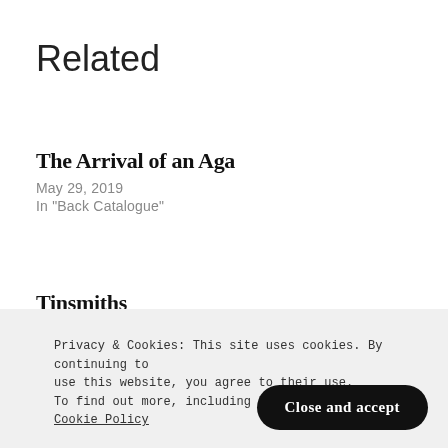Related
The Arrival of an Aga
May 29, 2019
In "Back Catalogue"
Tinsmiths
September 16, 2019
In "Back Catalogue"
Privacy & Cookies: This site uses cookies. By continuing to use this website, you agree to their use. To find out more, including how to co… Cookie Policy
Close and accept